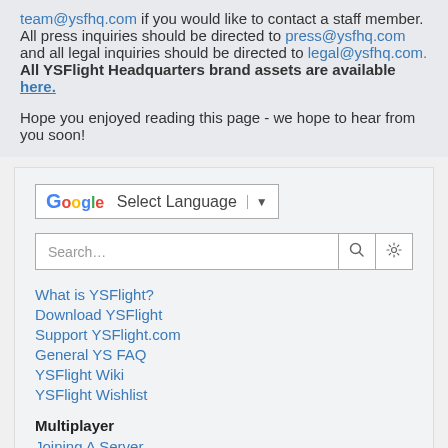team@ysfhq.com if you would like to contact a staff member. All press inquiries should be directed to press@ysfhq.com and all legal inquiries should be directed to legal@ysfhq.com. All YSFlight Headquarters brand assets are available here.
Hope you enjoyed reading this page - we hope to hear from you soon!
[Figure (screenshot): Google Translate language selector widget showing 'Select Language' with a dropdown arrow]
[Figure (screenshot): Search bar with search icon and settings gear icon]
What is YSFlight?
Download YSFlight
Support YSFlight.com
General YS FAQ
YSFlight Wiki
YSFlight Wishlist
Multiplayer
Joining A Server
Combat Standards
Discord Server
ONLINE SERVERS
187 Server (0/0) i
Violet World (0/0) i
2UCW Server (0/0) i
YSFlight Indonesia Server | SNF every Saturday (0/0) i